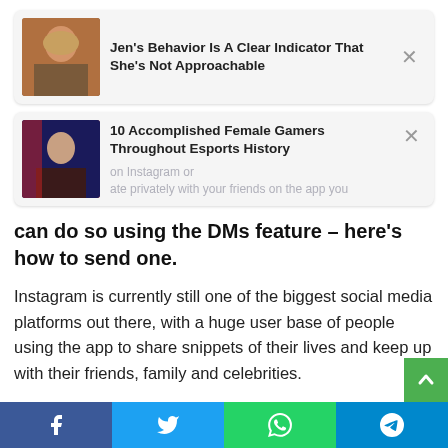[Figure (photo): Ad card: photo of a woman with long blonde hair, text 'Jen's Behavior Is A Clear Indicator That She's Not Approachable']
[Figure (photo): Ad card: photo of a young woman with dark hair, text '10 Accomplished Female Gamers Throughout Esports History', with overlay watermark text]
can do so using the DMs feature – here's how to send one.
Instagram is currently still one of the biggest social media platforms out there, with a huge user base of people using the app to share snippets of their lives and keep up with their friends, family and celebrities.